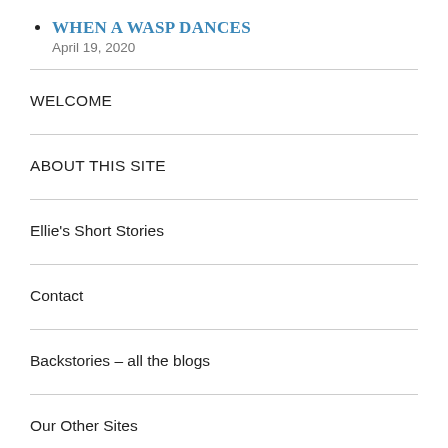WHEN A WASP DANCES
April 19, 2020
WELCOME
ABOUT THIS SITE
Ellie's Short Stories
Contact
Backstories – all the blogs
Our Other Sites
Blog Posts